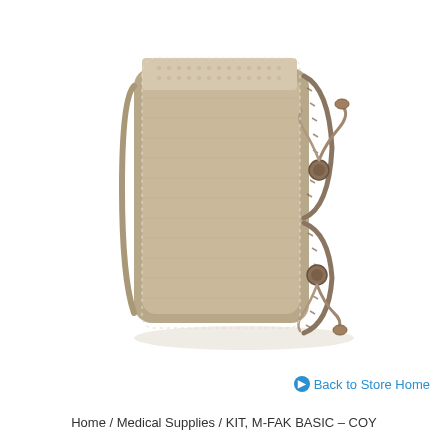[Figure (photo): Coyote tan tactical MOLLE medical pouch (M-FAK Basic) shown from a side angle, featuring two zipper compartments with paracord zipper pulls, velcro/loop panel on top, and nylon construction. White background product photo.]
Back to Store Home
Home / Medical Supplies / KIT, M-FAK BASIC – COY